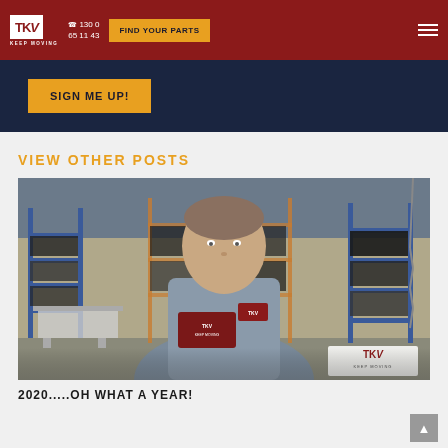TKV KEEP MOVING | ☎ 1300 65 11 43 | FIND YOUR PARTS
SIGN ME UP!
VIEW OTHER POSTS
[Figure (photo): A man in a grey TKV branded shirt standing in a warehouse with industrial shelving holding a dark red TKV business card. TKV KEEP MOVING logo watermark visible at bottom right of image.]
2020.....OH WHAT A YEAR!